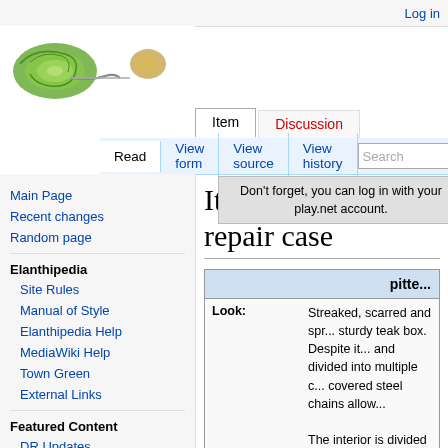Log in
[Figure (logo): Elanthipedia wiki logo - green snail shell with decorative elements]
Item  Discussion
Read  View form  View source  View history  Search
Don't forget, you can log in with your play.net account.
Item:Pitted steel repair case
Main Page
Recent changes
Random page
Elanthipedia
Site Rules
Manual of Style
Elanthipedia Help
MediaWiki Help
Town Green
External Links
Featured Content
DR Updates
Tuesday Tidings
| pitte... |
| --- |
| Look: | Streaked, scarred and spr... sturdy teak box. Despite it... and divided into multiple c... covered steel chains allow...

The interior is divided into... |